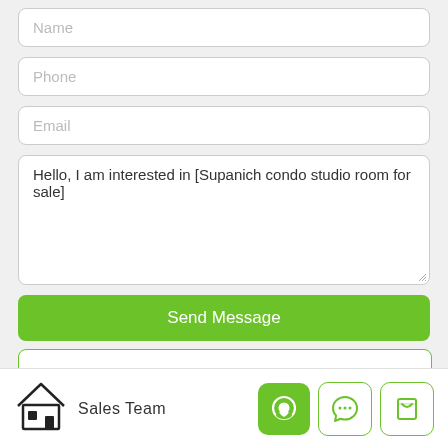Name
Phone
Email
Hello, I am interested in [Supanich condo studio room for sale]
Send Message
Sales Team